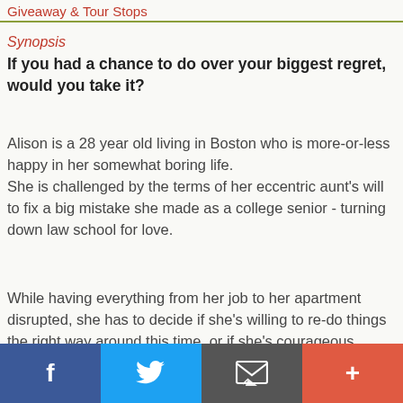Giveaway & Tour Stops
Synopsis
If you had a chance to do over your biggest regret, would you take it?
Alison is a 28 year old living in Boston who is more-or-less happy in her somewhat boring life.
She is challenged by the terms of her eccentric aunt's will to fix a big mistake she made as a college senior - turning down law school for love.
While having everything from her job to her apartment disrupted, she has to decide if she's willing to re-do things the right way around this time, or if she's courageous enough to find her own path.
Having been burned by love before, she is hesitant in allowing another guy - even one as hot as Ryan - shape her future.
f  Twitter  Email  +